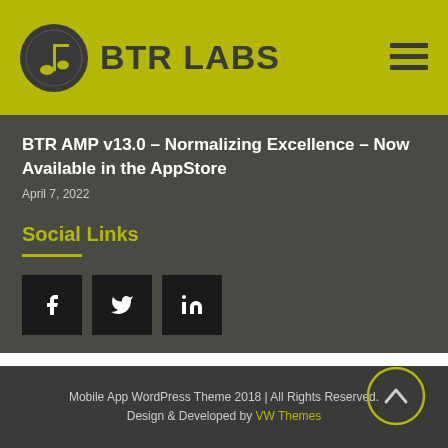BTR LABS
BTR AMP v13.0 – Normalizing Excellence – Now Available in the AppStore
April 7, 2022
Social Links
[Figure (illustration): Social media icon buttons: Facebook (f), Twitter (bird), LinkedIn (in)]
Mobile App WordPress Theme 2018 | All Rights Reserved. Design & Developed by VW Themes